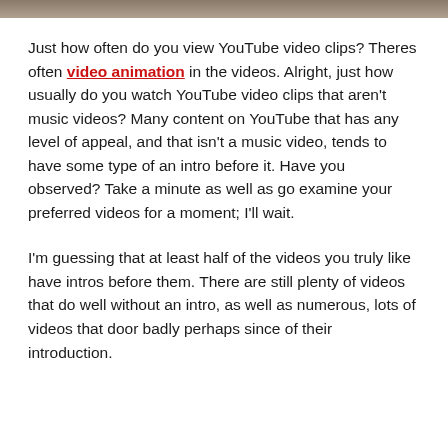[Figure (photo): Partial image strip at top of page, showing a blurred brownish background scene]
Just how often do you view YouTube video clips? Theres often video animation in the videos. Alright, just how usually do you watch YouTube video clips that aren't music videos? Many content on YouTube that has any level of appeal, and that isn't a music video, tends to have some type of an intro before it. Have you observed? Take a minute as well as go examine your preferred videos for a moment; I'll wait.
I'm guessing that at least half of the videos you truly like have intros before them. There are still plenty of videos that do well without an intro, as well as numerous, lots of videos that door badly perhaps since of their introduction.